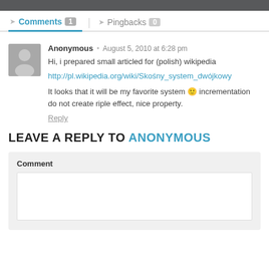Comments 1 | Pingbacks 0
Anonymous · August 5, 2010 at 6:28 pm
Hi, i prepared small articled for (polish) wikipedia
http://pl.wikipedia.org/wiki/Skośny_system_dwójkowy
It looks that it will be my favorite system 🙂 incrementation do not create riple effect, nice property.
Reply
LEAVE A REPLY TO ANONYMOUS
Comment